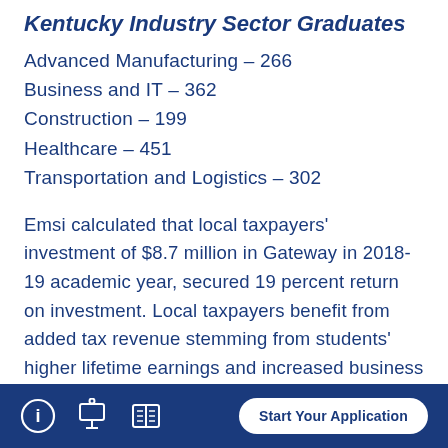Kentucky Industry Sector Graduates
Advanced Manufacturing – 266
Business and IT – 362
Construction – 199
Healthcare – 451
Transportation and Logistics – 302
Emsi calculated that local taxpayers' investment of $8.7 million in Gateway in 2018-19 academic year, secured 19 percent return on investment. Local taxpayers benefit from added tax revenue stemming from students' higher lifetime earnings and increased business output, amounting to $64 million. A reduced demand for
Start Your Application